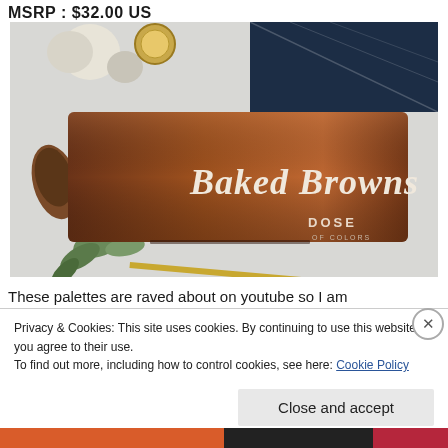MSRP : $32.00 US
[Figure (photo): Product photo of Dose of Colors 'Baked Browns' eyeshadow palette box, shown against a styled autumn flat-lay background with decorative gourds, eucalyptus, gold accents, and dark navy printed fabric.]
These palettes are raved about on youtube so I am
Privacy & Cookies: This site uses cookies. By continuing to use this website, you agree to their use.
To find out more, including how to control cookies, see here: Cookie Policy
Close and accept